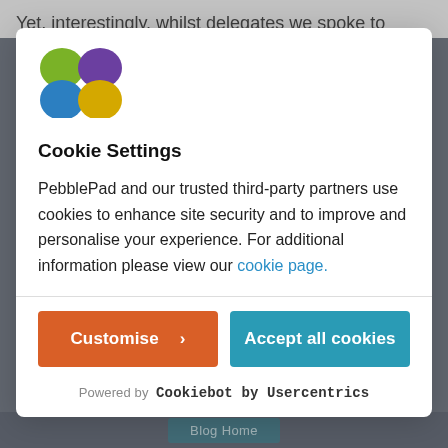Yet, interestingly, whilst delegates we spoke to pretty much
[Figure (logo): PebblePad logo — four colored circles/ovals arranged in a 2x2 grid: green (top-left), purple (top-right), blue (bottom-left), yellow (bottom-right)]
Cookie Settings
PebblePad and our trusted third-party partners use cookies to enhance site security and to improve and personalise your experience. For additional information please view our cookie page.
Customise >
Accept all cookies
Powered by Cookiebot by Usercentrics
Blog Home